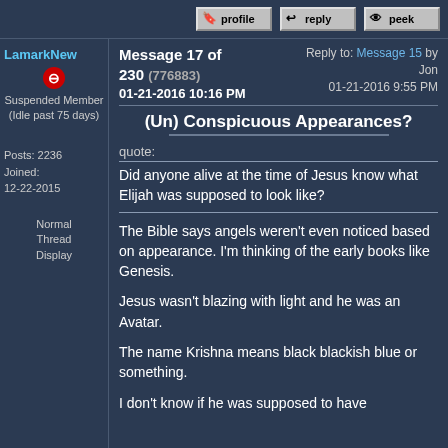profile | reply | peek
LamarkNew Member
Suspended Member (Idle past 75 days)
Posts: 2236
Joined: 12-22-2015
Normal Thread Display
Message 17 of 230 (776883)
01-21-2016 10:16 PM
Reply to: Message 15 by Jon
01-21-2016 9:55 PM
(Un) Conspicuous Appearances?
quote:
Did anyone alive at the time of Jesus know what Elijah was supposed to look like?
The Bible says angels weren't even noticed based on appearance. I'm thinking of the early books like Genesis.
Jesus wasn't blazing with light and he was an Avatar.
The name Krishna means black blackish blue or something.
I don't know if he was supposed to have